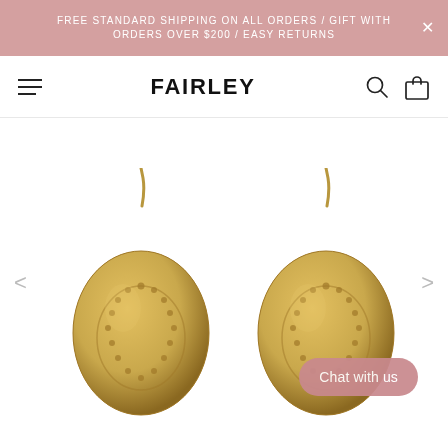FREE STANDARD SHIPPING ON ALL ORDERS / GIFT WITH ORDERS OVER $200 / EASY RETURNS
FAIRLEY
[Figure (photo): Two gold-toned textured oval earrings with hook clasps, shown against a white background. The earrings have an embossed dotted pattern on their surface.]
Chat with us